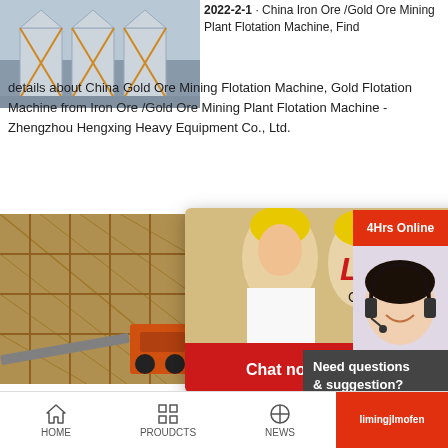[Figure (photo): Industrial silos with X-bracing in grey/blue tones, top-left quadrant]
2022-2-1 · China Iron Ore /Gold Ore Mining Plant Flotation Machine, Find details about China Gold Ore Mining Flotation Machine, Gold Flotation Machine from Iron Ore /Gold Ore Mining Plant Flotation Machine - Zhengzhou Hengxing Heavy Equipment Co., Ltd.
[Figure (photo): Industrial mining plant with orange scaffolding and machinery]
[Figure (screenshot): Live chat popup overlay with workers in hard hats, LIVE CHAT heading in red italic, Click for a Free Consultation subtitle, Chat now (red) and Chat later (dark) buttons]
[Figure (photo): Customer service representative with headset, right sidebar, 24Hrs Online banner]
Need questions & suggestion?
Chat Now
Enquiry
2022-1-27 · Produ... Gold Ore Flotation... : Introduction to flotation machine. Ore flotation e... applicable for the separation of nonferrous metal...al
HOME    PROUDCTS    NEWS    limingjlmofen